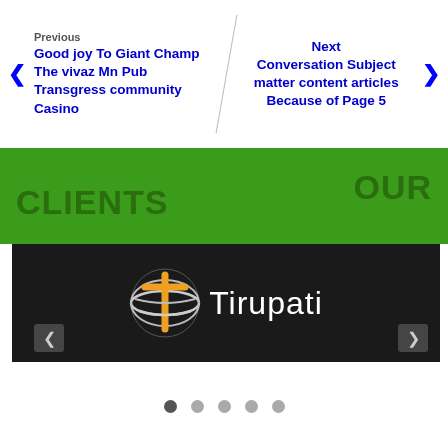Previous
Good joy To Giant Champ The vivaz Mn Pub Transgress community Casino
Next
Conversation Subject matter content articles Because of Page 5
OUR CLIENTS
[Figure (logo): Tirupati logo on dark background with navigation arrows and carousel dots]
● ○ ○ ○ ○